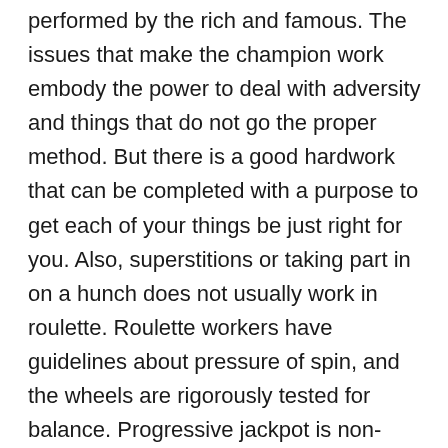performed by the rich and famous. The issues that make the champion work embody the power to deal with adversity and things that do not go the proper method. But there is a good hardwork that can be completed with a purpose to get each of your things be just right for you. Also, superstitions or taking part in on a hunch does not usually work in roulette. Roulette workers have guidelines about pressure of spin, and the wheels are rigorously tested for balance. Progressive jackpot is non-existent in brick and mortar roulette video games. Playing roulette in an online casino is easy, due to the web. If a casino game such roulette had been beatable, would the sport still exist?